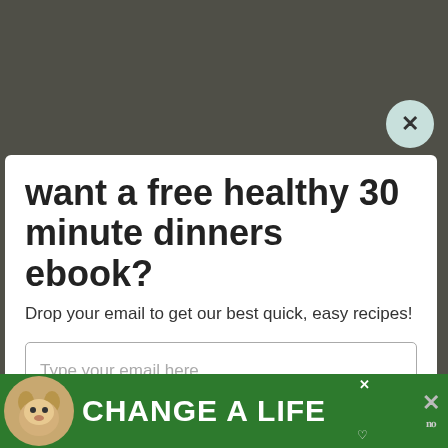[Figure (screenshot): Background photo of a meal/food scene, partially visible above and below a modal popup dialog]
want a free healthy 30 minute dinners ebook?
Drop your email to get our best quick, easy recipes!
Type your email here
SEND ME THE RECIPES!
[Figure (infographic): Green advertisement banner at bottom showing a dog photo and text CHANGE A LIFE with close button and share icons]